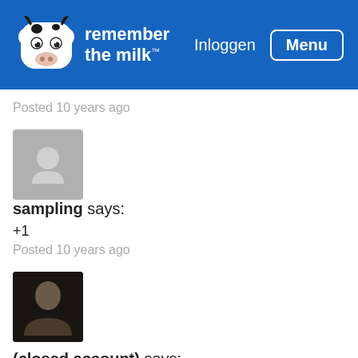[Figure (screenshot): Remember The Milk website header with cow logo, 'Inloggen' login link and 'Menu' button on blue background]
Posted 10 years ago
[Figure (photo): Default gray cow avatar placeholder for user 'sampling']
sampling says:
+1
Posted 10 years ago
[Figure (photo): Profile photo of a person with dark background for closed account user]
(closed account) says:
https://www.rememberthemilk.com/services/siri/
This looks like it should mean CalDav is supported